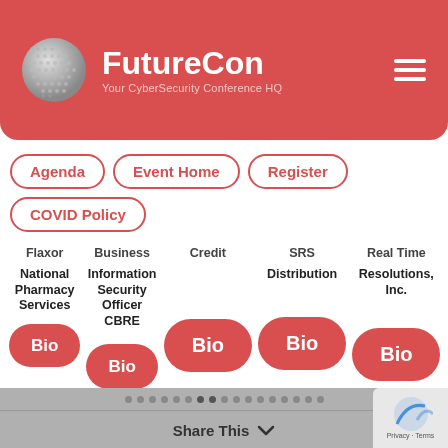[Figure (logo): FutureCon logo with globe icon and text 'FutureCon - Your CyberSecurity Conference HQ' on red background]
Agenda
Event Home
Register
COVID Policy
Flaxor National Pharmacy Services | Business Information Security Officer CBRE | Credit | SRS Distribution | Real Time Resolutions, Inc.
Share This